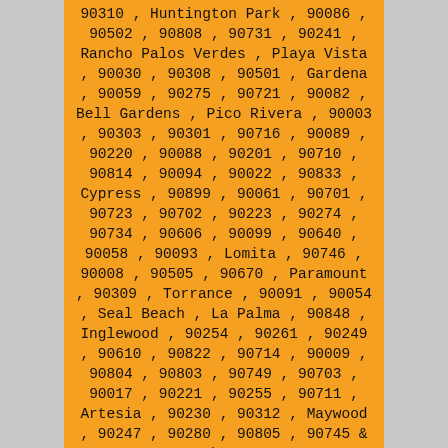90310 , Huntington Park , 90086 , 90502 , 90808 , 90731 , 90241 , Rancho Palos Verdes , Playa Vista , 90030 , 90308 , 90501 , Gardena , 90059 , 90275 , 90721 , 90082 , Bell Gardens , Pico Rivera , 90003 , 90303 , 90301 , 90716 , 90089 , 90220 , 90088 , 90201 , 90710 , 90814 , 90094 , 90022 , 90833 , Cypress , 90899 , 90061 , 90701 , 90723 , 90702 , 90223 , 90274 , 90734 , 90606 , 90099 , 90640 , 90058 , 90093 , Lomita , 90746 , 90008 , 90505 , 90670 , Paramount , 90309 , Torrance , 90091 , 90054 , Seal Beach , La Palma , 90848 , Inglewood , 90254 , 90261 , 90249 , 90610 , 90822 , 90714 , 90009 , 90804 , 90803 , 90749 , 90703 , 90017 , 90221 , 90255 , 90711 , Artesia , 90230 , 90312 , Maywood , 90247 , 90280 , 90805 , 90745 & Much More
Locksmith Carson, CA | Carson, CA Locksmith Services
25-08-2022